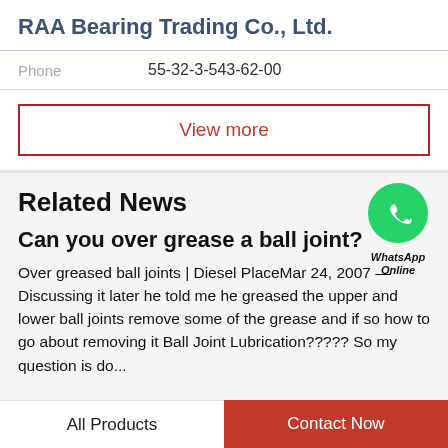RAA Bearing Trading Co., Ltd.
Phone   55-32-3-543-62-00
View more
Related News
[Figure (logo): WhatsApp green circle icon with phone handset symbol, labeled 'WhatsApp Online' in italic bold below]
Can you over grease a ball joint?
Over greased ball joints | Diesel PlaceMar 24, 2007 — Discussing it later he told me he greased the upper and lower ball joints remove some of the grease and if so how to go about removing it Ball Joint Lubrication????? So my question is do...
All Products   Contact Now